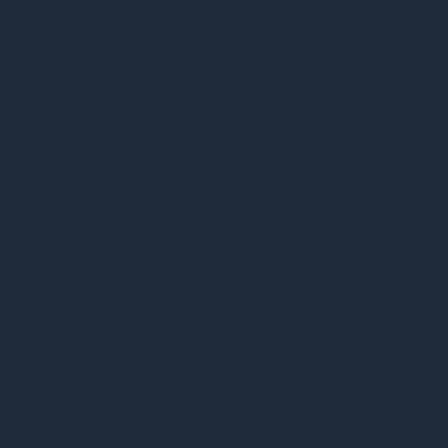href="http://buyacyclovironlinenorx.t... href="http://clonidine.network/">clon... href="http://arimidex.golf/">arimidex... href="http://stromectol.recipes/">iver... href="http://buyantabuse.network/">a... href="http://cymbalta.network/">cym... href="http://albendazole.run/">alben...
2019-Apr-01 13:04 BennyDog из [ab... <a href="http://buymobic.recipes/">b...
2019-Apr-01 14:04 BennyDog из [an... <a href="http://buyamoxicillin.networ...
2019-Apr-01 14:04 AaronQueft из [p... <a href="http://sildenafilfastsecure.c... href="http://kamagrafastdelivery.com...
2019-Apr-01 14:04 AaronQueft из [m... http://clomid.joburg/ - clomid
2019-Apr-01 17:04 Michaelwex из [jo... <a href="http://clonidine.netwo... href="http://buydoxycycline.network/...
2019-Apr-01 18:04 AaronQueft из [t...